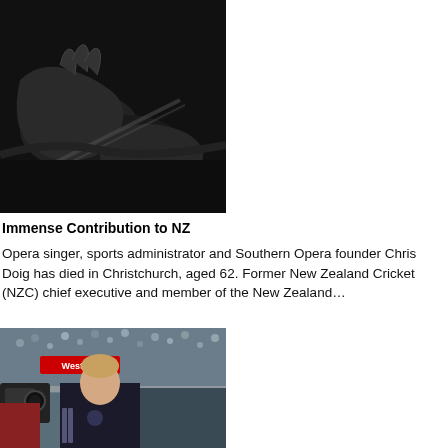[Figure (photo): Dark close-up photo of hands, possibly clasped or gesturing, in dark clothing]
Immense Contribution to NZ
Opera singer, sports administrator and Southern Opera founder Chris Doig has died in Christchurch, aged 62. Former New Zealand Cricket (NZC) chief executive and member of the New Zealand…
[Figure (photo): Photo of a young man in an Adidas New Zealand sports jacket standing in front of a crowd in a stadium, with a TV camera visible on the left]